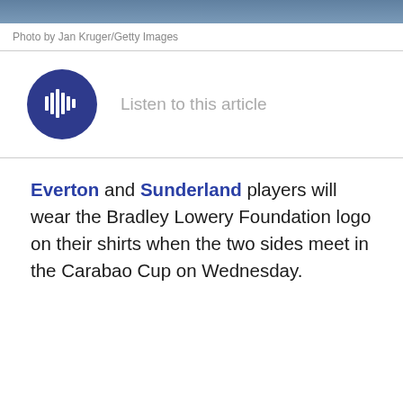[Figure (photo): Top portion of a sports/news photo, showing partial view of figures]
Photo by Jan Kruger/Getty Images
[Figure (other): Audio play button: dark blue circle with white play/audio icon, with text 'Listen to this article']
Everton and Sunderland players will wear the Bradley Lowery Foundation logo on their shirts when the two sides meet in the Carabao Cup on Wednesday.